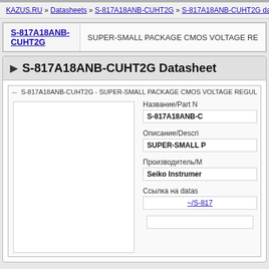KAZUS.RU » Datasheets » S-817A18ANB-CUHT2G » S-817A18ANB-CUHT2G data
| S-817A18ANB-CUHT2G | SUPER-SMALL PACKAGE CMOS VOLTAGE RE |
| --- | --- |
▶ S-817A18ANB-CUHT2G Datasheet
S-817A18ANB-CUHT2G - SUPER-SMALL PACKAGE CMOS VOLTAGE REGUL
[Figure (other): Datasheet preview area — blank white rectangle representing the document preview]
Название/Part N
S-817A18ANB-C
Описание/Descri
SUPER-SMALL P
Производитель/M
Seiko Instrumer
Ссылка на datas
~/S-817